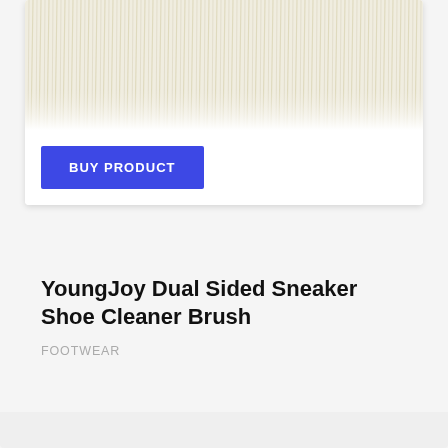[Figure (photo): Close-up photo of a dual-sided sneaker shoe cleaner brush showing dense pale/cream colored bristles at the top of the product card.]
BUY PRODUCT
YoungJoy Dual Sided Sneaker Shoe Cleaner Brush
FOOTWEAR